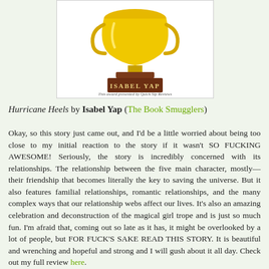[Figure (illustration): Trophy award illustration with a golden cup on a dark brown base labeled 'Isabel Yap'. Text below reads 'This award presented by Quick Sip Reviews'.]
Hurricane Heels by Isabel Yap (The Book Smugglers)
Okay, so this story just came out, and I'd be a little worried about being too close to my initial reaction to the story if it wasn't SO FUCKING AWESOME! Seriously, the story is incredibly concerned with its relationships. The relationship between the five main character, mostly—their friendship that becomes literally the key to saving the universe. But it also features familial relationships, romantic relationships, and the many complex ways that our relationship webs affect our lives. It's also an amazing celebration and deconstruction of the magical girl trope and is just so much fun. I'm afraid that, coming out so late as it has, it might be overlooked by a lot of people, but FOR FUCK'S SAKE READ THIS STORY. It is beautiful and wrenching and hopeful and strong and I will gush about it all day. Check out my full review here.